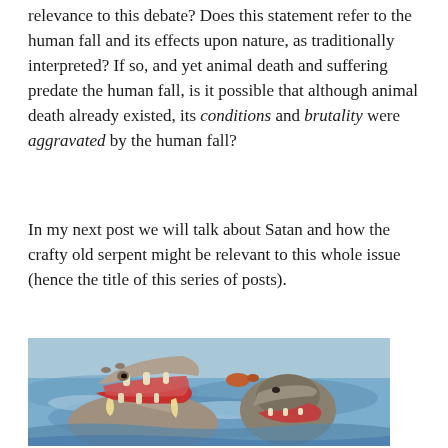relevance to this debate? Does this statement refer to the human fall and its effects upon nature, as traditionally interpreted? If so, and yet animal death and suffering predate the human fall, is it possible that although animal death already existed, its conditions and brutality were aggravated by the human fall?
In my next post we will talk about Satan and how the crafty old serpent might be relevant to this whole issue (hence the title of this series of posts).
[Figure (photo): Two hippopotamuses fighting or interacting aggressively in water, with mouths open wide, photographed in a natural river or lake setting.]